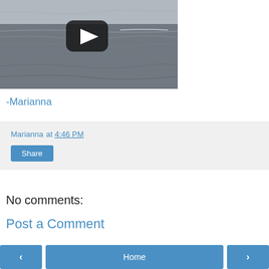[Figure (screenshot): Video thumbnail showing ocean waves in black and white with a YouTube-style play button overlay]
-Marianna
Marianna at 4:46 PM
Share
No comments:
Post a Comment
< Home >